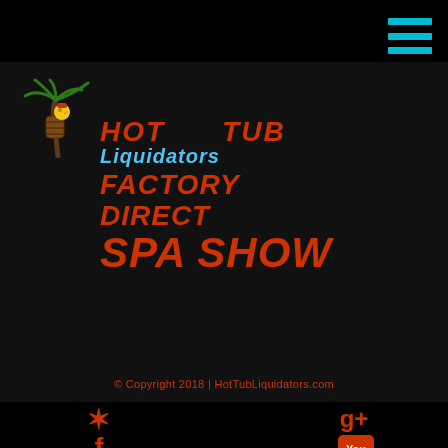[Figure (logo): Hamburger menu icon with three cyan horizontal lines in top right corner]
[Figure (logo): SGS ISO 9001:2000 certification badge in upper right, grey background with orange text and dark SGS letters]
[Figure (logo): Hot Tub Liquidators Factory Direct Spa Show logo with palm tree and cartoon character, red and cyan text on dark background]
© Copyright 2018 | HotTubLiquidators.com
[Figure (infographic): Social media icons: Yelp star icon, Facebook f icon on left; Google+ icon, YouTube icon on right, all in orange/red color]